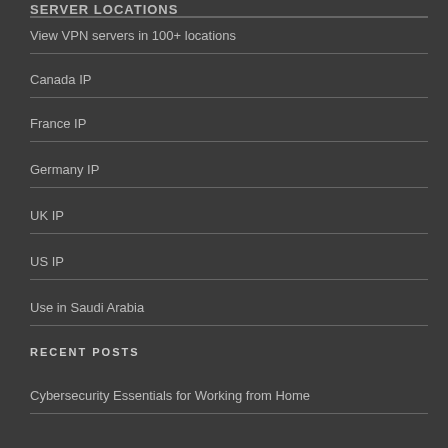SERVER LOCATIONS
View VPN servers in 100+ locations
Canada IP
France IP
Germany IP
UK IP
US IP
Use in Saudi Arabia
RECENT POSTS
Cybersecurity Essentials for Working from Home